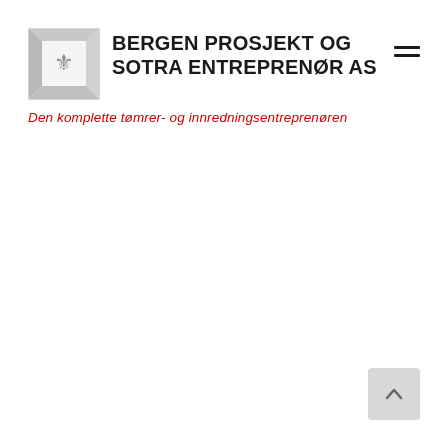[Figure (logo): Bergen Prosjekt og Sotra Entreprenør AS company logo with a stylized square frame containing a crest/shield emblem]
BERGEN PROSJEKT OG SOTRA ENTREPRENØR AS
Den komplette tømrer- og innredningsentreprenøren
[Figure (other): Scroll-to-top button in bottom right corner with an upward-pointing chevron arrow]